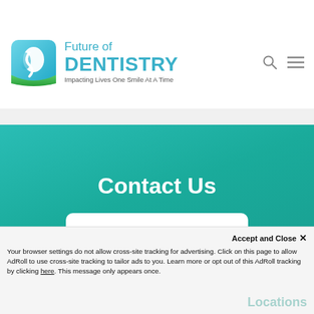[Figure (logo): Future of Dentistry logo with teal tooth icon and text 'Future of DENTISTRY — Impacting Lives One Smile At A Time']
Contact Us
Explore Locations
Accept and Close ×
Your browser settings do not allow cross-site tracking for advertising. Click on this page to allow AdRoll to use cross-site tracking to tailor ads to you. Learn more or opt out of this AdRoll tracking by clicking here. This message only appears once.